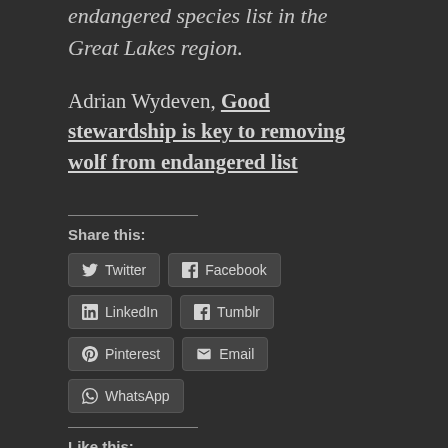success in removing the gray wolf from the endangered species list in the Great Lakes region.
Adrian Wydeven, Good stewardship is key to removing wolf from endangered list
Share this:
Twitter Facebook LinkedIn Tumblr Pinterest Email WhatsApp
Like this:
Loading...